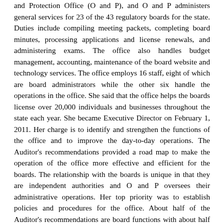and Protection Office (O and P), and O and P administers general services for 23 of the 43 regulatory boards for the state. Duties include compiling meeting packets, completing board minutes, processing applications and license renewals, and administering exams. The office also handles budget management, accounting, maintenance of the board website and technology services. The office employs 16 staff, eight of which are board administrators while the other six handle the operations in the office. She said that the office helps the boards license over 20,000 individuals and businesses throughout the state each year. She became Executive Director on February 1, 2011. Her charge is to identify and strengthen the functions of the office and to improve the day-to-day operations. The Auditor's recommendations provided a road map to make the operation of the office more effective and efficient for the boards. The relationship with the boards is unique in that they are independent authorities and O and P oversees their administrative operations. Her top priority was to establish policies and procedures for the office. About half of the Auditor's recommendations are board functions with about half O and P operations. The board and O and P have been working with the auditors. Executive staff from the Public Protection Cabinet will provide some oversight in